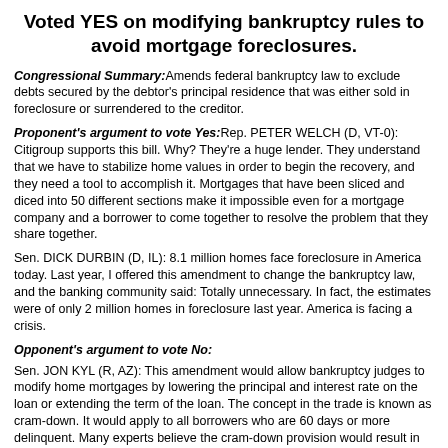Voted YES on modifying bankruptcy rules to avoid mortgage foreclosures.
Congressional Summary:
Amends federal bankruptcy law to exclude debts secured by the debtor's principal residence that was either sold in foreclosure or surrendered to the creditor.
Proponent's argument to vote Yes:
Rep. PETER WELCH (D, VT-0): Citigroup supports this bill. Why? They're a huge lender. They understand that we have to stabilize home values in order to begin the recovery, and they need a tool to accomplish it. Mortgages that have been sliced and diced into 50 different sections make it impossible even for a mortgage company and a borrower to come together to resolve the problem that they share together.
Sen. DICK DURBIN (D, IL): 8.1 million homes face foreclosure in America today. Last year, I offered this amendment to change the bankruptcy law, and the banking community said: Totally unnecessary. In fact, the estimates were of only 2 million homes in foreclosure last year. America is facing a crisis.
Opponent's argument to vote No:
Sen. JON KYL (R, AZ): This amendment would allow bankruptcy judges to modify home mortgages by lowering the principal and interest rate on the loan or extending the term of the loan. The concept in the trade is known as cram-down. It would apply to all borrowers who are 60 days or more delinquent. Many experts believe the cram-down provision would result in higher interest rates for all home mortgages. We could end up exacerbating this situation for all the people who would want to refinance or to take out loans in the future.
Rep. MICHELE BACHMANN (R, MN-6): Of the foundational policies of American exceptionalism, the concepts that have inspired our great Nation are the sanctity of private contracts and upholding the rule of law. This cramdown bill grossly